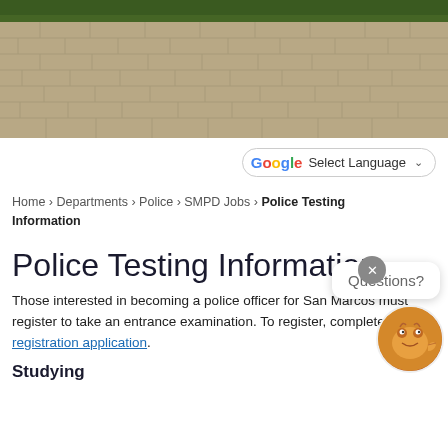[Figure (photo): Aerial or close-up photograph of brick/stone pavement or roofing tiles, brownish-gray tones, with some green foliage visible at the top edge.]
Select Language
Home › Departments › Police › SMPD Jobs › Police Testing Information
Police Testing Information
Those interested in becoming a police officer for San Marcos must register to take an entrance examination. To register, complete the registration application.
Studying